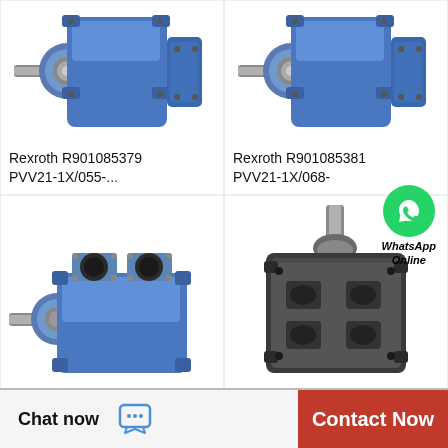[Figure (photo): Rexroth PVV21-1X/055 blue hydraulic vane pump, side/front view with shaft extending left]
Rexroth R901085379 PVV21-1X/055-...
[Figure (photo): Rexroth PVV21-1X/068 blue hydraulic vane pump, side/front view with shaft extending left]
Rexroth R901085381 PVV21-1X/068-
[Figure (photo): Rexroth blue double hydraulic vane pump, top/rear port view with splined shaft extending left]
[Figure (photo): Dark grey hydraulic pump/motor unit, front port face view with shaft extending upward]
WhatsApp Online
Chat now
Contact Now